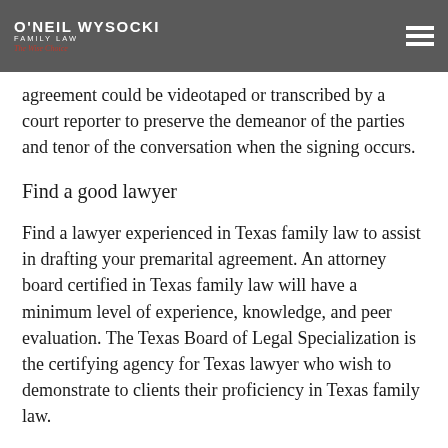O'NEIL WYSOCKI FAMILY LAW — The Wise Choice
agreement could be videotaped or transcribed by a court reporter to preserve the demeanor of the parties and tenor of the conversation when the signing occurs.
Find a good lawyer
Find a lawyer experienced in Texas family law to assist in drafting your premarital agreement. An attorney board certified in Texas family law will have a minimum level of experience, knowledge, and peer evaluation. The Texas Board of Legal Specialization is the certifying agency for Texas lawyer who wish to demonstrate to clients their proficiency in Texas family law.